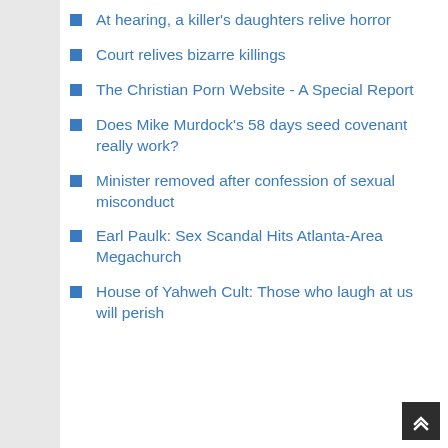At hearing, a killer's daughters relive horror
Court relives bizarre killings
The Christian Porn Website - A Special Report
Does Mike Murdock's 58 days seed covenant really work?
Minister removed after confession of sexual misconduct
Earl Paulk: Sex Scandal Hits Atlanta-Area Megachurch
House of Yahweh Cult: Those who laugh at us will perish